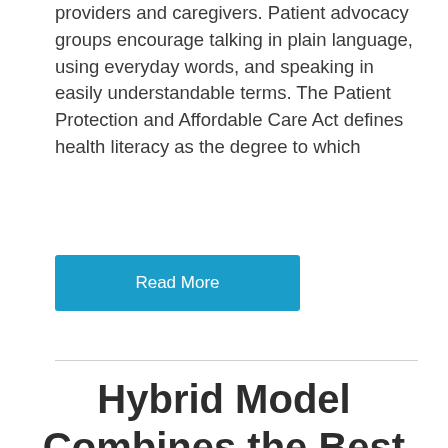providers and caregivers. Patient advocacy groups encourage talking in plain language, using everyday words, and speaking in easily understandable terms. The Patient Protection and Affordable Care Act defines health literacy as the degree to which
Read More
Hybrid Model Combines the Best of...